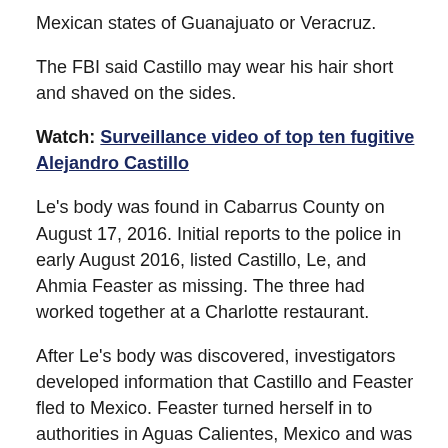Mexican states of Guanajuato or Veracruz.
The FBI said Castillo may wear his hair short and shaved on the sides.
Watch: Surveillance video of top ten fugitive Alejandro Castillo
Le's body was found in Cabarrus County on August 17, 2016. Initial reports to the police in early August 2016, listed Castillo, Le, and Ahmia Feaster as missing. The three had worked together at a Charlotte restaurant.
After Le's body was discovered, investigators developed information that Castillo and Feaster fled to Mexico. Feaster turned herself in to authorities in Aguas Calientes, Mexico and was extradited to North Carolina. She is facing several charges including